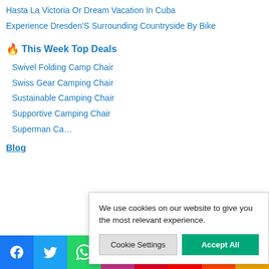Hasta La Victoria Or Dream Vacation In Cuba
Experience Dresden'S Surrounding Countryside By Bike
🔥 This Week Top Deals
Swivel Folding Camp Chair
Swiss Gear Camping Chair
Sustainable Camping Chair
Supportive Camping Chair
Superman Ca…
We use cookies on our website to give you the most relevant experience.
Cookie Settings | Accept All
Blog